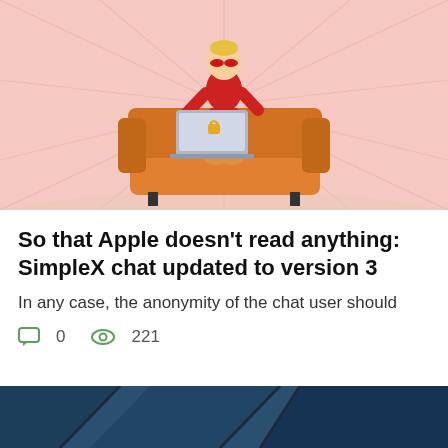[Figure (illustration): Cartoon illustration of a superhero-like person dressed in red sitting on an orange sofa, using a laptop with a padlock icon, on a pink starburst background]
So that Apple doesn't read anything: SimpleX chat updated to version 3
In any case, the anonymity of the chat user should
0   221
[Figure (photo): Partial photo with dark blue tones, partially visible at the bottom of the page]